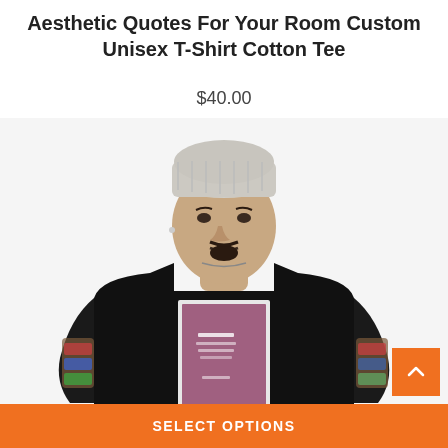Aesthetic Quotes For Your Room Custom Unisex T-Shirt Cotton Tee
$40.00
[Figure (photo): Man wearing a black custom unisex t-shirt with a purple/mauve graphic print, wearing a grey beanie hat, with tattooed arms, looking upward, photographed against a white background.]
SELECT OPTIONS